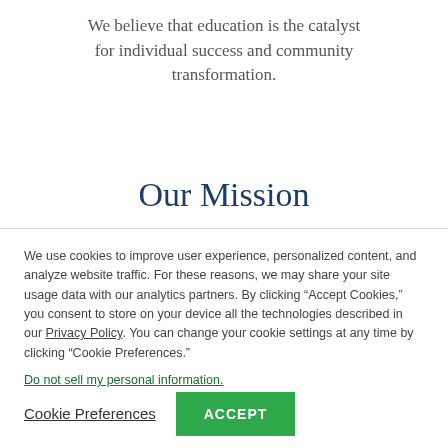We believe that education is the catalyst for individual success and community transformation.
Our Mission
We use cookies to improve user experience, personalized content, and analyze website traffic. For these reasons, we may share your site usage data with our analytics partners. By clicking “Accept Cookies,” you consent to store on your device all the technologies described in our Privacy Policy. You can change your cookie settings at any time by clicking “Cookie Preferences.”
Do not sell my personal information.
Cookie Preferences
ACCEPT